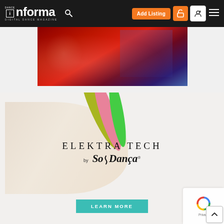Dance Informa – Digital Dance Magazine navigation bar with logo, search, Add Listing button, and menu icons
[Figure (photo): Partial photo of dancers in red floral costumes/fabric, cropped at top]
[Figure (illustration): So Danca Elektra Tech advertisement: dance shoe with colorful insoles (yellow, pink, green), text 'ELEKTRA TECH by SoDanca', and a teal LEARN MORE button]